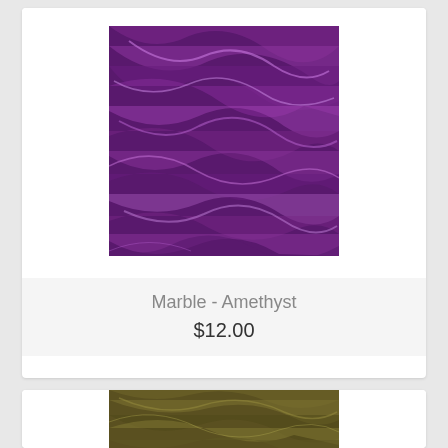[Figure (photo): Product card showing Marble - Amethyst fabric with swirling purple and dark marbled pattern]
Marble - Amethyst
$12.00
[Figure (photo): Second product card partially visible showing olive/brown marbled fabric pattern]